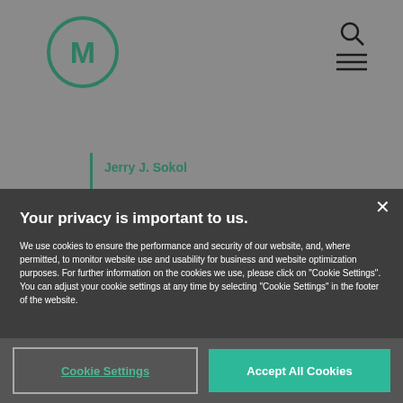[Figure (logo): Circular logo with letter M in dark teal/green color]
Jerry J. Sokol
Stephen W. Bernstein
STAY CONNECTED
Your privacy is important to us.
We use cookies to ensure the performance and security of our website, and, where permitted, to monitor website use and usability for business and website optimization purposes. For further information on the cookies we use, please click on "Cookie Settings". You can adjust your cookie settings at any time by selecting "Cookie Settings" in the footer of the website.
Cookie Settings
Accept All Cookies